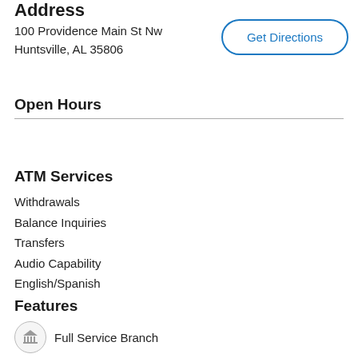Address
100 Providence Main St Nw
Huntsville, AL 35806
Get Directions
Open Hours
ATM Services
Withdrawals
Balance Inquiries
Transfers
Audio Capability
English/Spanish
Features
Full Service Branch